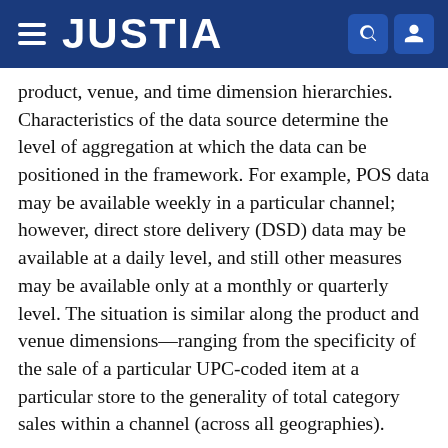JUSTIA
product, venue, and time dimension hierarchies. Characteristics of the data source determine the level of aggregation at which the data can be positioned in the framework. For example, POS data may be available weekly in a particular channel; however, direct store delivery (DSD) data may be available at a daily level, and still other measures may be available only at a monthly or quarterly level. The situation is similar along the product and venue dimensions—ranging from the specificity of the sale of a particular UPC-coded item at a particular store to the generality of total category sales within a channel (across all geographies).
Once this data framework is populated, the data fusion process itself is an iterative one, utilizing both competitive and complementary fusion methods. In "competitive fusion", two or more data sources that